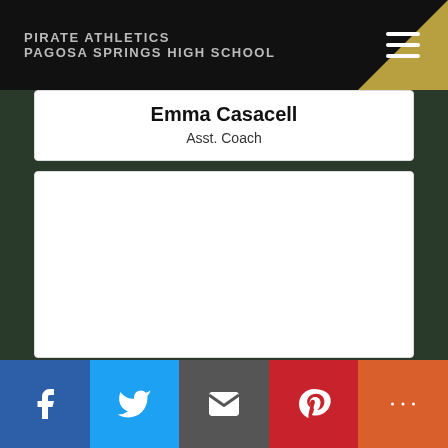PIRATE ATHLETICS
PAGOSA SPRINGS HIGH SCHOOL
Emma Casacell
Asst. Coach
[Figure (other): Empty white content card below the name/role card]
Social share bar with Facebook, Twitter, Email, Pinterest, More buttons